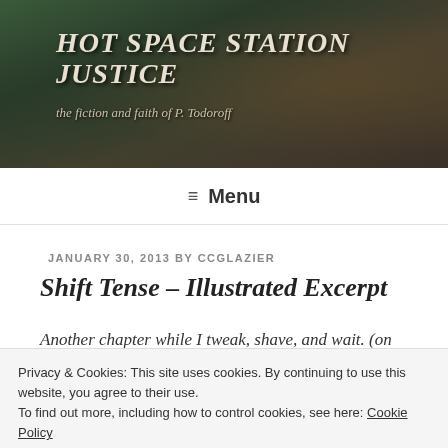HOT SPACE STATION JUSTICE
the fiction and faith of P. Todoroff
≡ Menu
JANUARY 30, 2013 BY CCGLAZIER
Shift Tense – Illustrated Excerpt
Another chapter while I tweak, shave, and wait. (on an agency response) Illustrations by wOlly at Rebelstar Studio.
Privacy & Cookies: This site uses cookies. By continuing to use this website, you agree to their use.
To find out more, including how to control cookies, see here: Cookie Policy
Close and accept